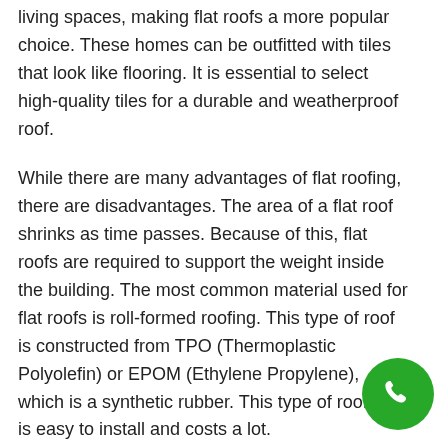living spaces, making flat roofs a more popular choice. These homes can be outfitted with tiles that look like flooring. It is essential to select high-quality tiles for a durable and weatherproof roof.
While there are many advantages of flat roofing, there are disadvantages. The area of a flat roof shrinks as time passes. Because of this, flat roofs are required to support the weight inside the building. The most common material used for flat roofs is roll-formed roofing. This type of roof is constructed from TPO (Thermoplastic Polyolefin) or EPOM (Ethylene Propylene), which is a synthetic rubber. This type of roofing is easy to install and costs a lot.
[Figure (other): Green circular phone/call button icon in the bottom right corner]